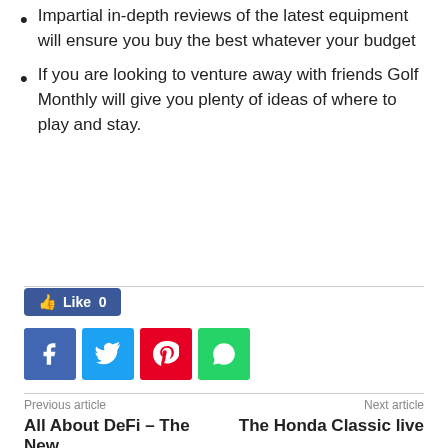Impartial in-depth reviews of the latest equipment will ensure you buy the best whatever your budget
If you are looking to venture away with friends Golf Monthly will give you plenty of ideas of where to play and stay.
Like 0 [Facebook Like button]
[Figure (other): Social sharing icons: Facebook, Twitter, Pinterest, WhatsApp]
Previous article: All About DeFi – The New
Next article: The Honda Classic live